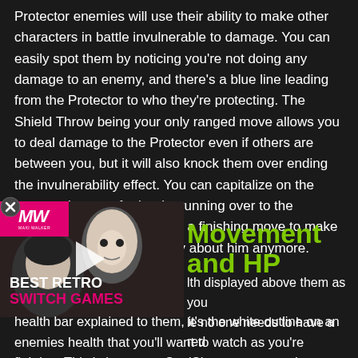Protector enemies will use their ability to make other characters in battle invulnerable to damage. You can easily spot them by noticing you're not doing any damage to an enemy, and there's a blue line leading from the Protector to who they're protecting. The Shield Throw being your only ranged move allows you to deal damage to the Protector even if others are between you, but it will also knock them over ending the invulnerability effect. You can capitalize on the opportunity even further by running over to the downed Protector and using a finishing move to make sure you don't need to worry about him anymore.
[Figure (screenshot): Video thumbnail showing game characters with MW (Maxi Walker or similar) logo in top-left corner, a play button in the center, and 'BEST RETRO SWITCH GAMES' text overlay at bottom-left.]
Movement and HP
lth displayed above them as you le no one needs to have a red health bar explained to them, it's the white outline on an enemies health that you'll want to watch as you're fighting. This is known as SoulShatter, at any point doing a light attack combo